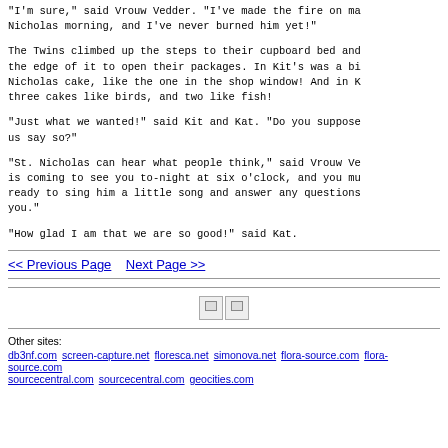"I'm sure," said Vrouw Vedder. "I've made the fire on many a St. Nicholas morning, and I've never burned him yet!"
The Twins climbed up the steps to their cupboard bed and sat on the edge of it to open their packages. In Kit's was a big St. Nicholas cake, like the one in the shop window! And in Kat's were three cakes like birds, and two like fish!
"Just what we wanted!" said Kit and Kat. "Do you suppose he heard us say so?"
"St. Nicholas can hear what people think," said Vrouw Vedder. "He is coming to see you to-night at six o'clock, and you must be ready to sing him a little song and answer any questions he asks you."
"How glad I am that we are so good!" said Kat.
<< Previous Page    Next Page >>
[Figure (other): Two broken image icons]
Other sites:
db3nf.com screen-capture.net floresca.net simonova.net flora-source.com flora-source.com sourcecentral.com sourcecentral.com geocities.com